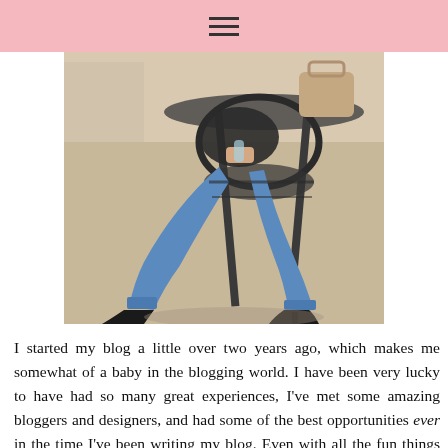≡
[Figure (photo): A person sitting outdoors at a metal café/patio table and chair, wearing dark top, rolled cuffed blue jeans, and black heeled shoes/sandals. A tan/beige handbag is visible on the table in the background. The setting appears to be a sunny outdoor patio with a brick wall.]
I started my blog a little over two years ago, which makes me somewhat of a baby in the blogging world. I have been very lucky to have had so many great experiences, I've met some amazing bloggers and designers, and had some of the best opportunities ever in the time I've been writing my blog. Even with all the fun things that have come along, it can be hard